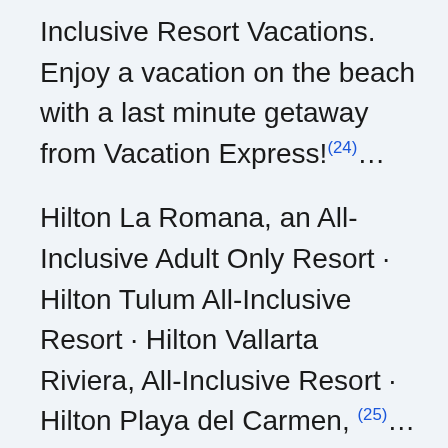Inclusive Resort Vacations. Enjoy a vacation on the beach with a last minute getaway from Vacation Express!(24)…
Hilton La Romana, an All-Inclusive Adult Only Resort · Hilton Tulum All-Inclusive Resort · Hilton Vallarta Riviera, All-Inclusive Resort · Hilton Playa del Carmen, (25)…
Re-imagine the resort experience with All-Inclusive by Marriott Bonvoy, the newest and most rewarding name in